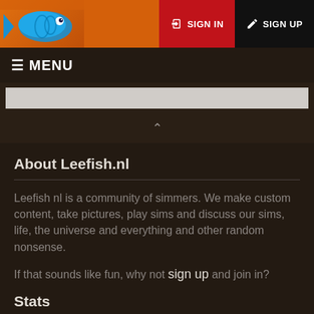[Figure (logo): Leefish.nl website header with orange background and colorful fish logo on the left, SIGN IN (red button) and SIGN UP (dark button) on the right]
≡ MENU
[Figure (screenshot): Search bar input field with light gray background]
About Leefish.nl
Leefish nl is a community of simmers. We make custom content, take pictures, play sims and discuss our sims, life, the universe and everything and other random nonsense.
If that sounds like fun, why not sign up and join in?
Stats
Newbie: ngoisaochot | 41190 Posts | 5122 Topics | 4041 Users